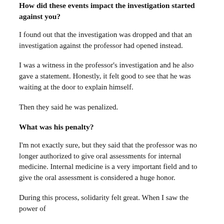How did these events impact the investigation started against you?
I found out that the investigation was dropped and that an investigation against the professor had opened instead.
I was a witness in the professor's investigation and he also gave a statement. Honestly, it felt good to see that he was waiting at the door to explain himself.
Then they said he was penalized.
What was his penalty?
I'm not exactly sure, but they said that the professor was no longer authorized to give oral assessments for internal medicine. Internal medicine is a very important field and to give the oral assessment is considered a huge honor.
During this process, solidarity felt great. When I saw the power of